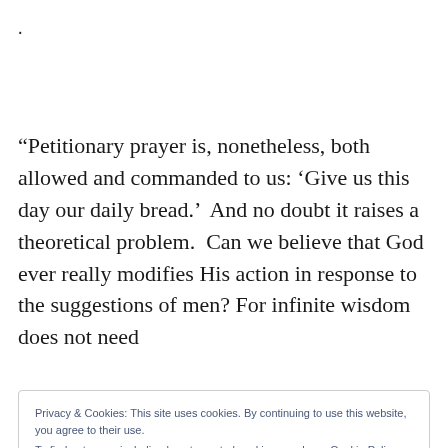.
“Petitionary prayer is, nonetheless, both allowed and commanded to us: ‘Give us this day our daily bread.’  And no doubt it raises a theoretical problem.  Can we believe that God ever really modifies His action in response to the suggestions of men? For infinite wisdom does not need
Privacy & Cookies: This site uses cookies. By continuing to use this website, you agree to their use.
To find out more, including how to control cookies, see here: Cookie Policy
Close and accept
bakers, and butchers; or knowledge without the aid of